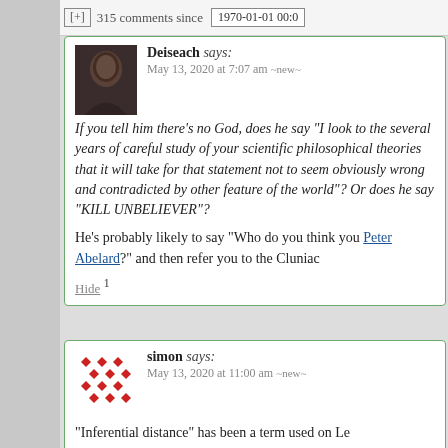+ 315 comments since 1970-01-01 00:0
Deiseach says:
May 13, 2020 at 7:07 am ~new~

If you tell him there's no God, does he say "I look to the several years of careful study of your scientific philosophical theories that it will take for that statement not to seem obviously wrong and contradicted by other feature of the world"? Or does he say "KILL UNBELIEVER"?

He's probably likely to say "Who do you think you Peter Abelard?" and then refer you to the Cluniac
Hide 1
simon says:
May 13, 2020 at 11:00 am ~new~

"Inferential distance" has been a term used on Le